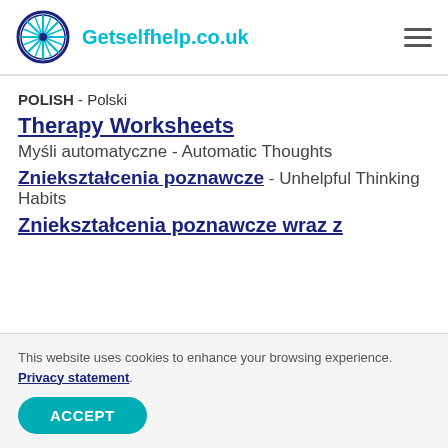Getselfhelp.co.uk
POLISH - Polski
Therapy Worksheets
Myśli automatyczne - Automatic Thoughts
Zniekształcenia poznawcze - Unhelpful Thinking Habits
Zniekształcenia poznawcze wraz z
This website uses cookies to enhance your browsing experience. Privacy statement.